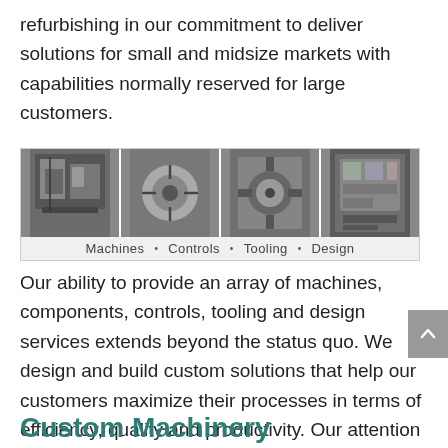refurbishing in our commitment to deliver solutions for small and midsize markets with capabilities normally reserved for large customers.
[Figure (photo): A horizontal strip of four industrial photos labeled: Machines, Controls, Tooling, Design]
Our ability to provide an array of machines, components, controls, tooling and design services extends beyond the status quo. We design and build custom solutions that help our customers maximize their processes in terms of efficiency, quality and productivity. Our attention to detail and obsession with quality ensures an unsurpassed return on investment.
Custom Machinery